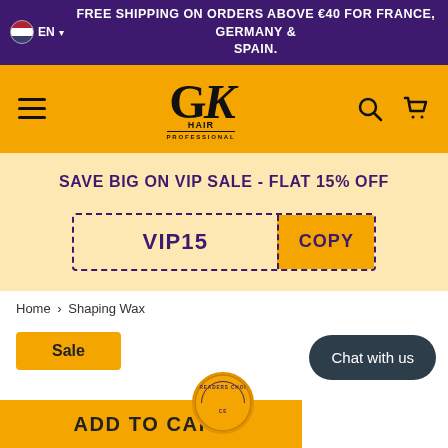FREE SHIPPING ON ORDERS ABOVE €40 FOR FRANCE, GERMANY & SPAIN.
[Figure (logo): GK Hair Professional logo on orange navigation bar with hamburger menu, search icon, and cart icon]
SAVE BIG ON VIP SALE - FLAT 15% OFF
VIP15   COPY
Home › Shaping Wax
Sale
Chat with us
ADD TO CART